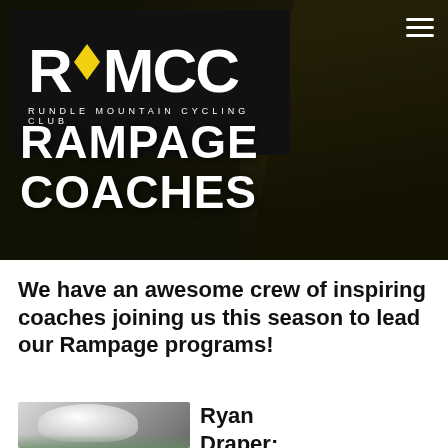[Figure (photo): Hero banner showing cyclists in dark/outdoor setting with RMCC logo overlay and RAMPAGE COACHES text, plus hamburger menu icon]
We have an awesome crew of inspiring coaches joining us this season to lead our Rampage programs!
[Figure (photo): Photo of coach wearing white cycling helmet]
Ryan Draper: